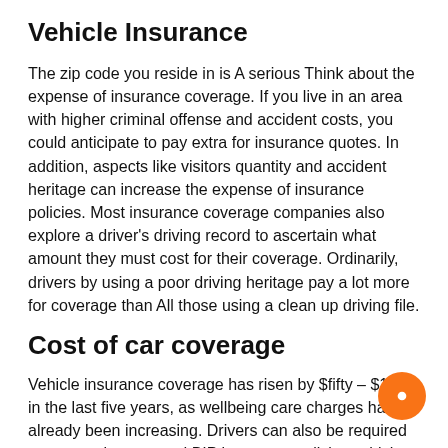Vehicle Insurance
The zip code you reside in is A serious Think about the expense of insurance coverage. If you live in an area with higher criminal offense and accident costs, you could anticipate to pay extra for insurance quotes. In addition, aspects like visitors quantity and accident heritage can increase the expense of insurance policies. Most insurance coverage companies also explore a driver's driving record to ascertain what amount they must cost for their coverage. Ordinarily, drivers by using a poor driving heritage pay a lot more for coverage than All those using a clean up driving file.
Cost of car coverage
Vehicle insurance coverage has risen by $fifty – $100 in the last five years, as wellbeing care charges have already been increasing. Drivers can also be required to carry uninsured and BIP insurance policies, which can be over-ordinary point